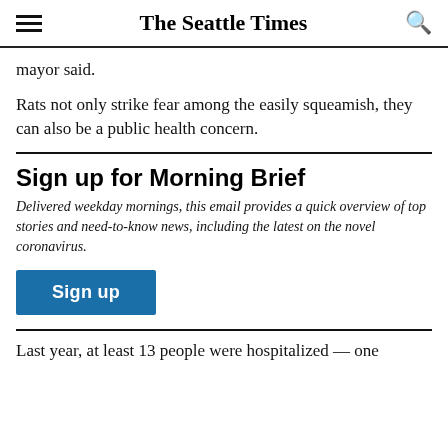The Seattle Times
mayor said.
Rats not only strike fear among the easily squeamish, they can also be a public health concern.
Sign up for Morning Brief
Delivered weekday mornings, this email provides a quick overview of top stories and need-to-know news, including the latest on the novel coronavirus.
Sign up
Last year, at least 13 people were hospitalized — one